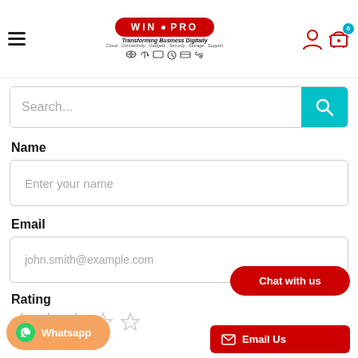[Figure (logo): WIN PRO logo - red oval with white text WIN PRO, tagline Transforming Business Digitally, sub-categories Cloud, Connectivity, Gadgets, Security, Storage, Support with small icons]
[Figure (screenshot): Search bar with placeholder text Search... and cyan search button]
Name
[Figure (screenshot): Text input field with placeholder Enter your name]
Email
[Figure (screenshot): Text input field with placeholder john.smith@example.com]
Rating
[Figure (screenshot): Five empty star rating icons in gray]
[Figure (screenshot): Chat with us red pill-shaped button]
[Figure (screenshot): Email Us red button with envelope icon]
[Figure (screenshot): WhatsApp orange pill-shaped button with WhatsApp icon]